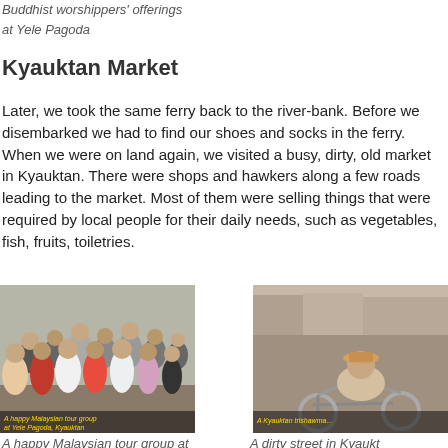Buddhist worshippers' offerings
at Yele Pagoda
Kyauktan Market
Later, we took the same ferry back to the river-bank. Before we disembarked we had to find our shoes and socks in the ferry. When we were on land again, we visited a busy, dirty, old market in Kyauktan. There were shops and hawkers along a few roads leading to the market. Most of them were selling things that were required by local people for their daily needs, such as vegetables, fish, fruits, toiletries.
[Figure (photo): A happy Malaysian tour group at Yele Pagoda, Kyauktan. Group of women posing together.]
[Figure (photo): A Kyauktan trishawman. A man crouching near a bicycle rickshaw in a busy street.]
A happy Malaysian tour group at
A dirty street in Kyaukt...